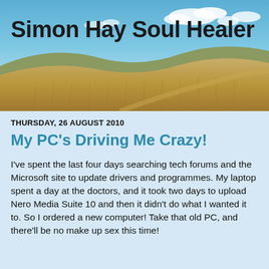[Figure (photo): Blue sky with white clouds over a golden wheat/grass field landscape, used as blog header background]
Simon Hay Soul Healer
THURSDAY, 26 AUGUST 2010
My PC's Driving Me Crazy!
I've spent the last four days searching tech forums and the Microsoft site to update drivers and programmes. My laptop spent a day at the doctors, and it took two days to upload Nero Media Suite 10 and then it didn't do what I wanted it to. So I ordered a new computer! Take that old PC, and there'll be no make up sex this time!
Since I've neglected my blog I'm planning a surprise romantic dinner: new hard drive, genuine software, windows 7, and the ambient glow of a new monitor. That post will be hot and locked.
In other news I'm reformatting all the video on my blog and